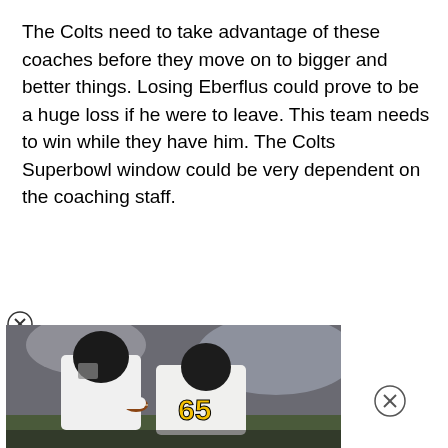The Colts need to take advantage of these coaches before they move on to bigger and better things. Losing Eberflus could prove to be a huge loss if he were to leave. This team needs to win while they have him. The Colts Superbowl window could be very dependent on the coaching staff.
[Figure (photo): Football players in black and yellow Steelers uniforms on the field; one player wearing jersey number 65 visible prominently]